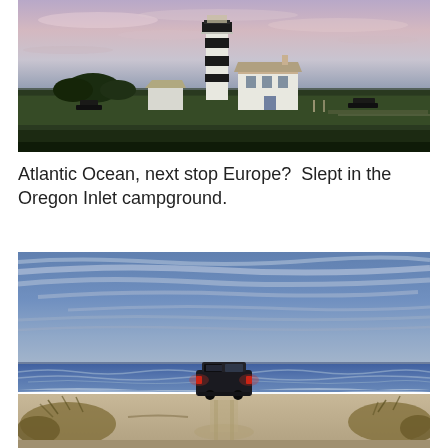[Figure (photo): A lighthouse with black and white stripes stands on a flat green lawn at dusk with pink-purple sky. White keeper's house and outbuildings visible beside the lighthouse.]
Atlantic Ocean, next stop Europe?  Slept in the Oregon Inlet campground.
[Figure (photo): A dark SUV with red brake lights drives on a sandy beach access path toward the ocean. Large blue sky with wispy streaked clouds, ocean waves visible in the background, sand dunes with grass on the sides.]